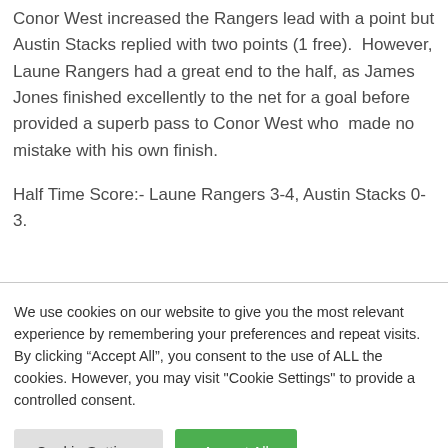Conor West increased the Rangers lead with a point but Austin Stacks replied with two points (1 free).  However, Laune Rangers had a great end to the half, as James Jones finished excellently to the net for a goal before provided a superb pass to Conor West who  made no mistake with his own finish.
Half Time Score:- Laune Rangers 3-4, Austin Stacks 0-3.
We use cookies on our website to give you the most relevant experience by remembering your preferences and repeat visits. By clicking "Accept All", you consent to the use of ALL the cookies. However, you may visit "Cookie Settings" to provide a controlled consent.